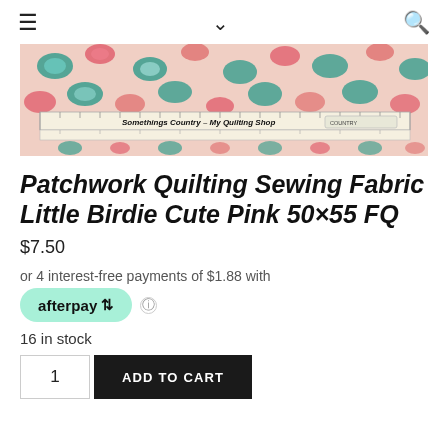≡  ∨  🔍
[Figure (photo): Product photo of pink fabric with bird/paisley print pattern and a ruler showing 'Somethings Country – My Quilting Shop']
Patchwork Quilting Sewing Fabric Little Birdie Cute Pink 50×55 FQ
$7.50
or 4 interest-free payments of $1.88 with afterpay
16 in stock
1  ADD TO CART